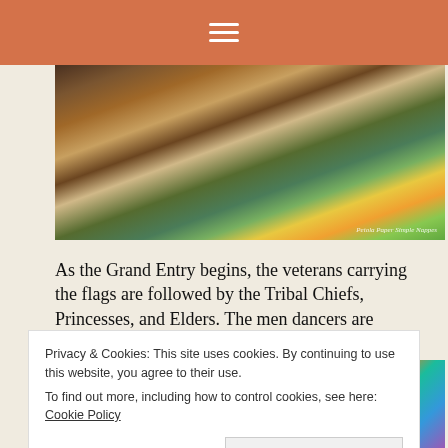≡
[Figure (photo): Native American dancers in colorful regalia performing at a powwow, with the lower halves and fringe garments visible. A watermark reads 'Petola Paper Simple Nappes'.]
As the Grand Entry begins, the veterans carrying the flags are followed by the Tribal Chiefs, Princesses, and Elders. The men dancers are always next in line, followed by the women dancers.
[Figure (photo): A crowd of Native American women and children seen from behind, wearing colorful traditional regalia at a powwow gathering.]
Privacy & Cookies: This site uses cookies. By continuing to use this website, you agree to their use.
To find out more, including how to control cookies, see here: Cookie Policy